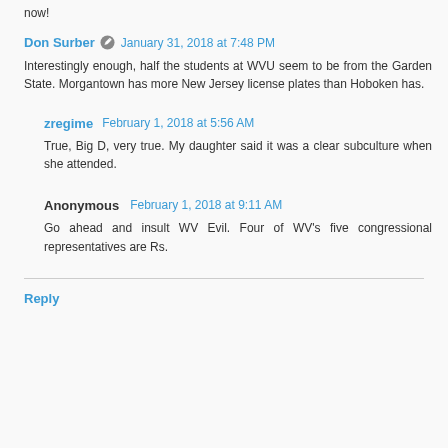now!
Don Surber · January 31, 2018 at 7:48 PM
Interestingly enough, half the students at WVU seem to be from the Garden State. Morgantown has more New Jersey license plates than Hoboken has.
zregime · February 1, 2018 at 5:56 AM
True, Big D, very true. My daughter said it was a clear subculture when she attended.
Anonymous · February 1, 2018 at 9:11 AM
Go ahead and insult WV Evil. Four of WV's five congressional representatives are Rs.
Reply